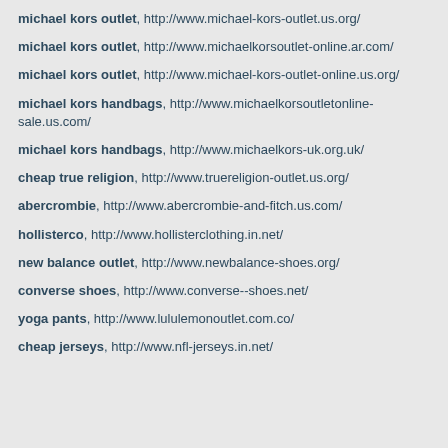michael kors outlet, http://www.michael-kors-outlet.us.org/
michael kors outlet, http://www.michaelkorsoutlet-online.ar.com/
michael kors outlet, http://www.michael-kors-outlet-online.us.org/
michael kors handbags, http://www.michaelkorsoutletonline-sale.us.com/
michael kors handbags, http://www.michaelkors-uk.org.uk/
cheap true religion, http://www.truereligion-outlet.us.org/
abercrombie, http://www.abercrombie-and-fitch.us.com/
hollisterco, http://www.hollisterclothing.in.net/
new balance outlet, http://www.newbalance-shoes.org/
converse shoes, http://www.converse--shoes.net/
yoga pants, http://www.lululemonoutlet.com.co/
cheap jerseys, http://www.nfl-jerseys.in.net/